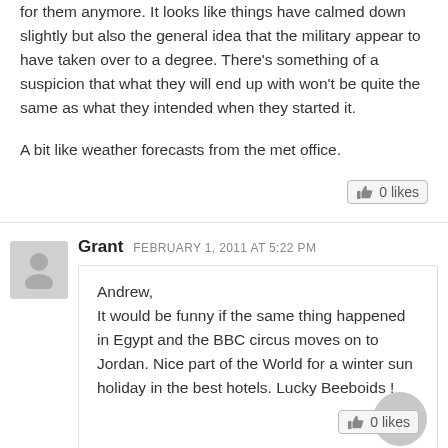for them anymore.  It looks like things have calmed down slightly but also the general idea that the military appear to have taken over to a degree.  There's something of a suspicion that what they will end up with won't be quite the same as what they intended when they started it.

A bit like weather forecasts from the met office.
0 likes
Grant  FEBRUARY 1, 2011 AT 5:22 PM
Andrew,
It would be funny if the same thing happened in Egypt and the BBC circus moves on to Jordan. Nice part of the World for a winter sun holiday in the best hotels. Lucky Beeboids  !
0 likes